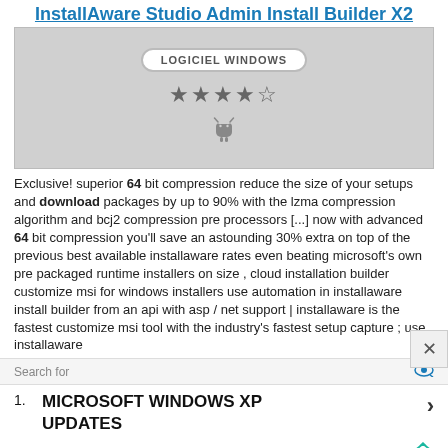InstallAware Studio Admin Install Builder X2
[Figure (screenshot): Software listing screenshot showing LOGICIEL WINDOWS badge, four stars rating, and Android icon on grey background]
Exclusive! superior 64 bit compression reduce the size of your setups and download packages by up to 90% with the lzma compression algorithm and bcj2 compression pre processors [...] now with advanced 64 bit compression you'll save an astounding 30% extra on top of the previous best available installaware rates even beating microsoft's own pre packaged runtime installers on size , cloud installation builder customize msi for windows installers use automation in installaware install builder from an api with asp / net support | installaware is the fastest customize msi tool with the industry's fastest setup capture ; use installaware
Search for
MICROSOFT WINDOWS XP UPDATES
Yahoo! Search | Sponsored